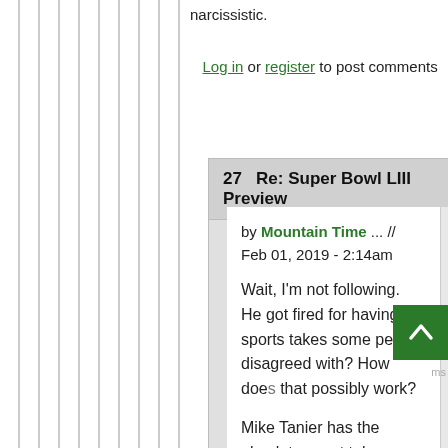narcissistic.
Login or register to post comments
27  Re: Super Bowl LIII Preview
by Mountain Time ... // Feb 01, 2019 - 2:14am
Wait, I'm not following. He got fired for having sports takes some people disagreed with? How does that possibly work?
Mike Tanier has the absolute worst takes about Kirk Cousins and I might